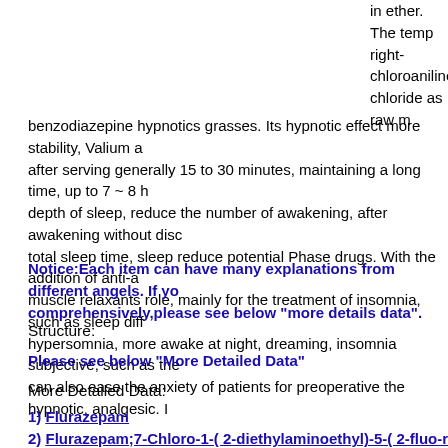in ether. The temp right-chloroaniline chloride as raw m
benzodiazepine hypnotics grasses. Its hypnotic effect more stability, Valium after serving generally 15 to 30 minutes, maintaining a long time, up to 7 ~ 8 depth of sleep, reduce the number of awakening, after awakening without disc total sleep time, sleep reduce potential Phase drugs. With the addition of anti-a muscle relaxants role, mainly for the treatment of insomnia, such as sleep diff hypersomnia, more awake at night, dreaming, insomnia subjective, such as the can also ease the anxiety of patients for preoperative the hypnotic, analgesic.
Notice:Each item can have many explanations from different angels. If yo comprehensively,please see below "more details data".
Structure:
Please see below "More Detailed Data"
More Detailed Data:
1) Flurazepam
2) Flurazepam;7-Chloro-1-( 2-diethylaminoethyl)-5-( 2-fluo-rophenyl)-1,3